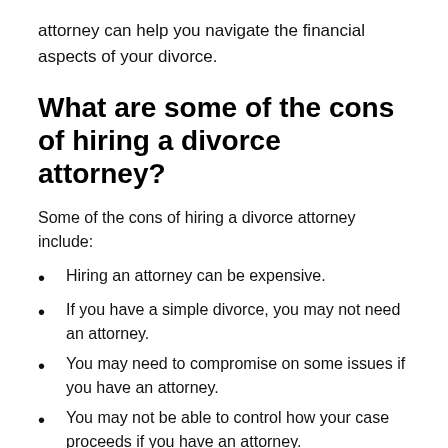attorney can help you navigate the financial aspects of your divorce.
What are some of the cons of hiring a divorce attorney?
Some of the cons of hiring a divorce attorney include:
Hiring an attorney can be expensive.
If you have a simple divorce, you may not need an attorney.
You may need to compromise on some issues if you have an attorney.
You may not be able to control how your case proceeds if you have an attorney.